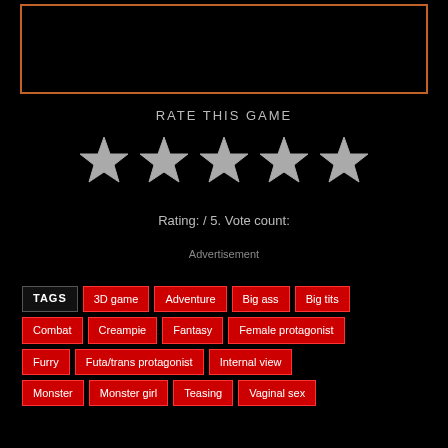[Figure (other): Orange-bordered rectangle/box at top of page]
RATE THIS GAME
[Figure (other): Five grey/white star rating icons]
Rating: / 5. Vote count:
Advertisement
TAGS  3D game  Adventure  Big ass  Big tits  Combat  Creampie  Fantasy  Female protagonist  Furry  Futa/trans protagonist  Internal view  Monster  Monster girl  Teasing  Vaginal sex